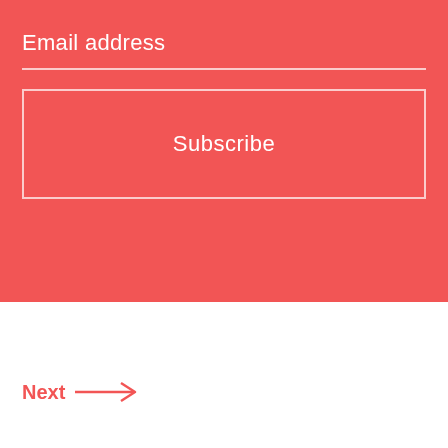Email address
Subscribe
Next →